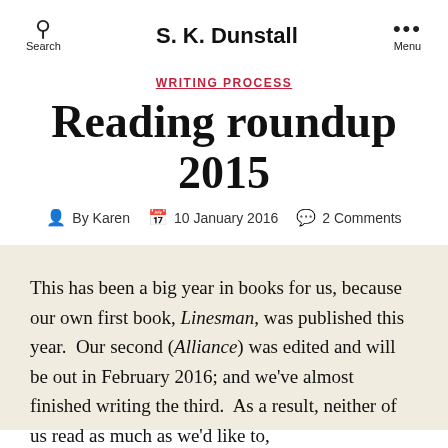S. K. Dunstall
WRITING PROCESS
Reading roundup 2015
By Karen  10 January 2016  2 Comments
This has been a big year in books for us, because our own first book, Linesman, was published this year.  Our second (Alliance) was edited and will be out in February 2016; and we've almost finished writing the third.  As a result, neither of us read as much as we'd like to,